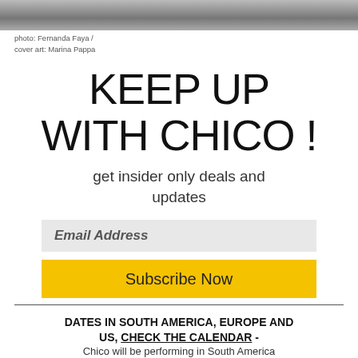[Figure (photo): Top cropped black and white photo strip showing a landscape or road scene]
photo: Fernanda Faya /
cover art: Marina Pappa
KEEP UP WITH CHICO !
get insider only deals and updates
Email Address
Subscribe Now
DATES IN SOUTH AMERICA, EUROPE AND US, CHECK THE CALENDAR -
Chico will be performing in South America